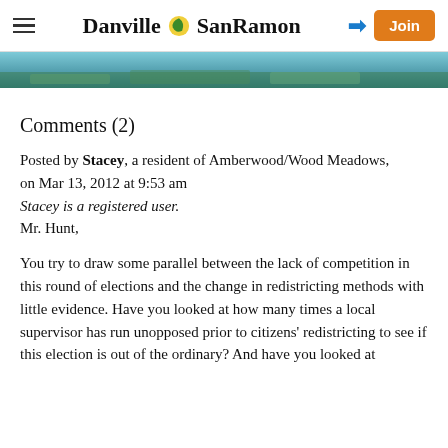Danville SanRamon — navigation header with hamburger menu, site logo, login arrow, and Join button
[Figure (photo): Aerial landscape photo banner, teal/green tones]
Comments (2)
Posted by Stacey, a resident of Amberwood/Wood Meadows,
on Mar 13, 2012 at 9:53 am
Stacey is a registered user.
Mr. Hunt,
You try to draw some parallel between the lack of competition in this round of elections and the change in redistricting methods with little evidence. Have you looked at how many times a local supervisor has run unopposed prior to citizens' redistricting to see if this election is out of the ordinary? And have you looked at